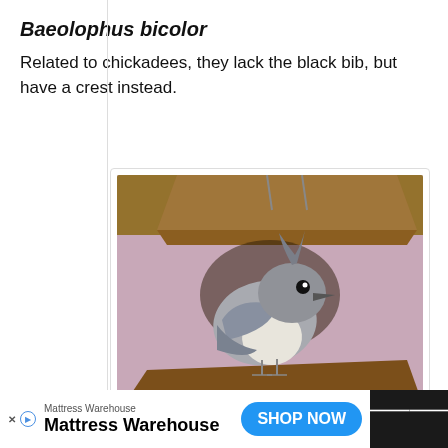Baeolophus bicolor
Related to chickadees, they lack the black bib, but have a crest instead.
[Figure (photo): A Tufted Titmouse bird perched inside a rustic wooden birdhouse/feeder against a pink background. The bird has gray plumage, a distinctive crest, and a small dark eye.]
Tufted Titmouse. anne773 from Pixabay
Mattress Warehouse · Mattress Warehouse · SHOP NOW